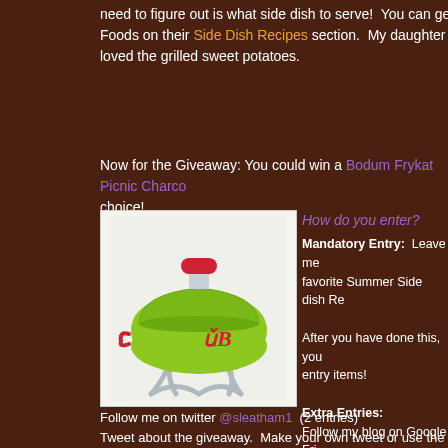need to figure out is what side dish to serve!  You can get some wonderful ideas from Smithfield Foods on their Side Dish Recipes section.  My daughter loved the br... loved the grilled sweet potatoes.
Now for the Giveaway: You could win a Bodum Frykat Picnic Charco... choice!
[Figure (photo): A green Bodum Frykat portable charcoal grill with red handle and chrome wire stand legs]
How do you enter?
Mandatory Entry: Leave me... favorite Summer Side dish Re...
After you have done this, you... entry items!
Extra Entries: Follow my blog on Google Fri... Subscribe to my feed (2 entrie...
Follow me on twitter @sleatham1  (2 entries)
Tweet about the giveaway.  Make your own tweet or use the sample...
I entered to win a charcoal grill at Shelly's Bits & Pieces @sleatham1...